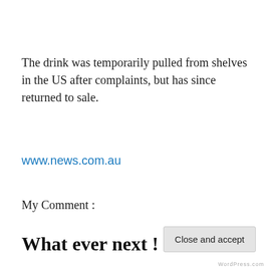The drink was temporarily pulled from shelves in the US after complaints, but has since returned to sale.
www.news.com.au
My Comment :
What ever next !
I would like to see the government take it off the market.
Privacy & Cookies: This site uses cookies. By continuing to use this website, you agree to their use.
To find out more, including how to control cookies, see here: Cookie Policy
Close and accept